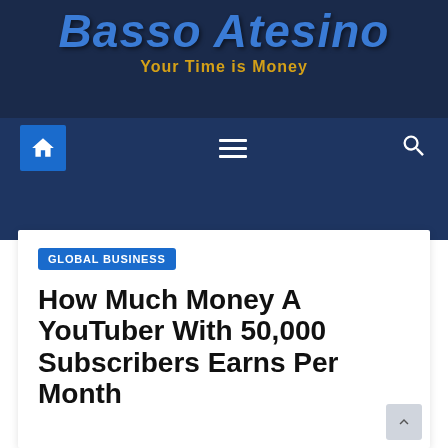Basso Atesino — Your Time is Money
[Figure (screenshot): Website navigation bar with home icon, hamburger menu icon, and search icon on dark navy background]
GLOBAL BUSINESS
How Much Money A YouTuber With 50,000 Subscribers Earns Per Month